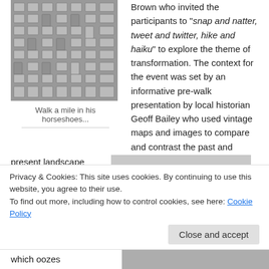[Figure (photo): Aerial or close-up photo of metal components arranged in a grid-like pattern, black and white]
Walk a mile in his horseshoes...
Brown who invited the participants to "snap and natter, tweet and twitter, hike and haiku" to explore the theme of transformation.  The context for the event was set by an informative pre-walk presentation by local historian Geoff Bailey who used vintage maps and images to compare and contrast the past and
present landscape around Falkirk and its connection to the 'Great
[Figure (photo): Black and white historical photograph showing industrial cranes or scaffolding structures with a building in the background]
which oozes
[Figure (photo): Another black and white historical photograph at the bottom]
Privacy & Cookies: This site uses cookies. By continuing to use this website, you agree to their use.
To find out more, including how to control cookies, see here: Cookie Policy
Close and accept